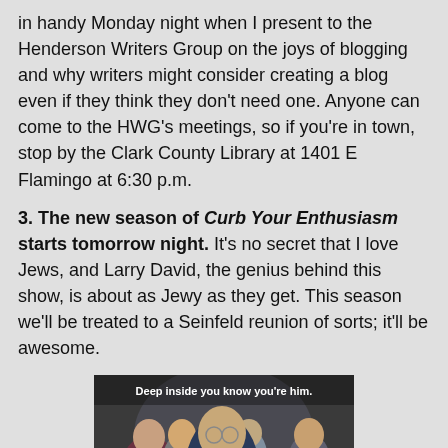in handy Monday night when I present to the Henderson Writers Group on the joys of blogging and why writers might consider creating a blog even if they think they don't need one. Anyone can come to the HWG's meetings, so if you're in town, stop by the Clark County Library at 1401 E Flamingo at 6:30 p.m.
3. The new season of Curb Your Enthusiasm starts tomorrow night. It's no secret that I love Jews, and Larry David, the genius behind this show, is about as Jewy as they get. This season we'll be treated to a Seinfeld reunion of sorts; it'll be awesome.
[Figure (photo): Promotional image for Curb Your Enthusiasm showing Larry David and other bald men in a crowd. Text overlay reads 'Deep inside you know you're him.' and 'Curb Your' at the bottom.]